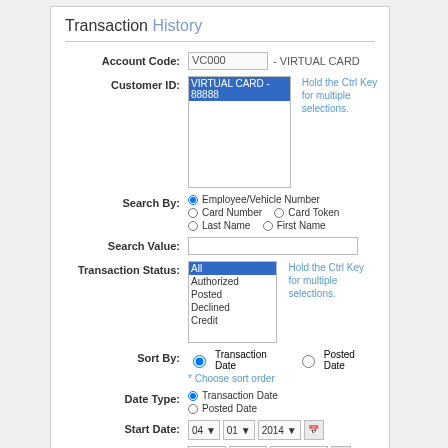Transaction History
Account Code: VC000 - VIRTUAL CARD
Customer ID: VIRTUAL CARD - 88888 | Hold the Ctrl Key for multiple selections.
Search By: Employee/Vehicle Number, Card Number, Card Token, Last Name, First Name
Search Value:
Transaction Status: All, Authorized, Posted, Declined, Credit | Hold the Ctrl Key for multiple selections.
Sort By: Transaction Date | Posted Date | * Choose sort order
Date Type: Transaction Date | Posted Date
Start Date: 04 01 2014
End Date: